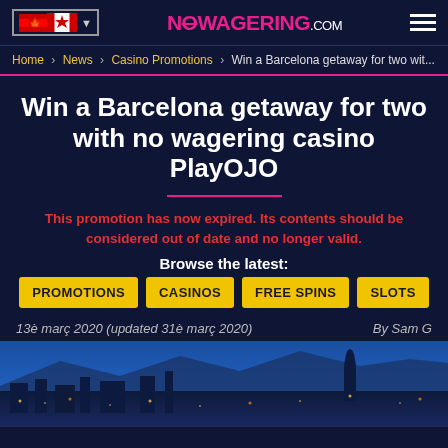NOWAGERING.COM
Home › News › Casino Promotions › Win a Barcelona getaway for two wit...
Win a Barcelona getaway for two with no wagering casino PlayOJO
This promotion has now expired. Its contents should be considered out of date and no longer valid.
Browse the latest:
PROMOTIONS  CASINOS  FREE SPINS  SLOTS
13è març 2020 (updated 31è març 2020)   By Sam G
[Figure (photo): Aerial/skyline view of Barcelona city at dusk with mountains in background]